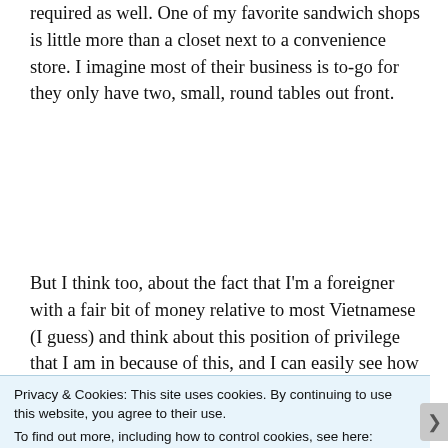required as well. One of my favorite sandwich shops is little more than a closet next to a convenience store. I imagine most of their business is to-go for they only have two, small, round tables out front.
But I think too, about the fact that I'm a foreigner with a fair bit of money relative to most Vietnamese (I guess) and think about this position of privilege that I am in because of this, and I can easily see how my judgment is skewed as a
Privacy & Cookies: This site uses cookies. By continuing to use this website, you agree to their use.
To find out more, including how to control cookies, see here: Cookie Policy
Close and accept